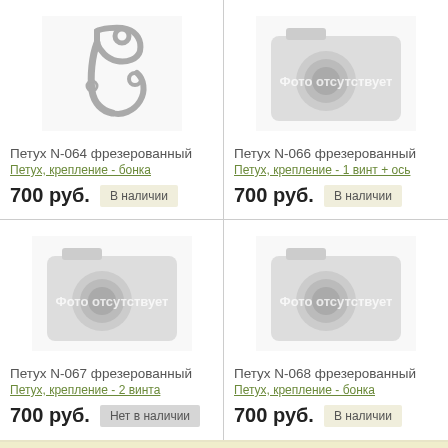[Figure (photo): Product photo of Petukh N-064 milled part, a metal bracket/hook shape]
Петух N-064 фрезерованный
Петух, крепление - бонка
700 руб.  В наличии
[Figure (photo): Camera placeholder image with text Фото отсутствует]
Петух N-066 фрезерованный
Петух, крепление - 1 винт + ось
700 руб.  В наличии
[Figure (photo): Camera placeholder image with text Фото отсутствует]
Петух N-067 фрезерованный
Петух, крепление - 2 винта
700 руб.  Нет в наличии
[Figure (photo): Camera placeholder image with text Фото отсутствует]
Петух N-068 фрезерованный
Петух, крепление - бонка
700 руб.  В наличии